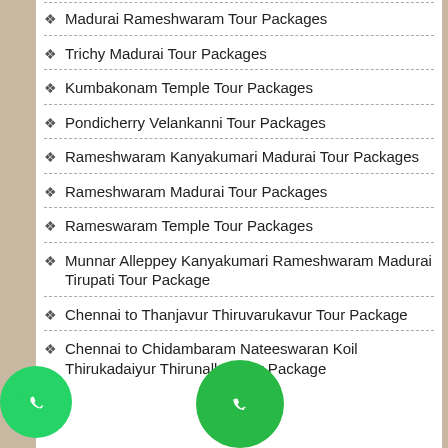Madurai Rameshwaram Tour Packages
Trichy Madurai Tour Packages
Kumbakonam Temple Tour Packages
Pondicherry Velankanni Tour Packages
Rameshwaram Kanyakumari Madurai Tour Packages
Rameshwaram Madurai Tour Packages
Rameswaram Temple Tour Packages
Munnar Alleppey Kanyakumari Rameshwaram Madurai Tirupati Tour Package
Chennai to Thanjavur Thiruvarukavur Tour Package
Chennai to Chidambaram Nateeswaran Koil Thirukadaiyur Thirunallar Tour Package